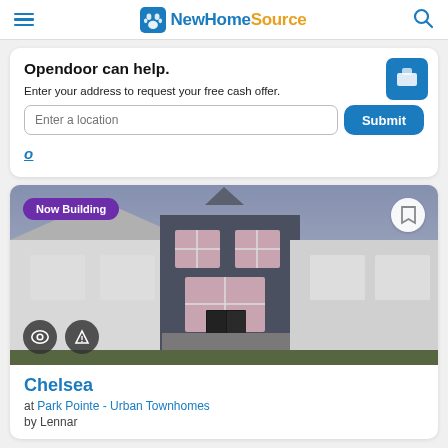NewHomeSource
Opendoor can help.
Enter your address to request your free cash offer.
[Figure (screenshot): Opendoor card with text input field labeled 'Enter a location' and a blue Submit button]
[Figure (photo): Exterior rendering of a two-story townhome with dark gray siding and stone accents, with 'Now Building' badge overlaid]
Chelsea
at Park Pointe - Urban Townhomes
by Lennar